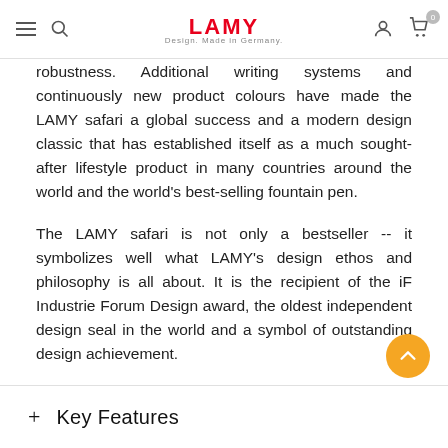LAMY — Design. Made in Germany.
robustness. Additional writing systems and continuously new product colours have made the LAMY safari a global success and a modern design classic that has established itself as a much sought-after lifestyle product in many countries around the world and the world's best-selling fountain pen.
The LAMY safari is not only a bestseller -- it symbolizes well what LAMY's design ethos and philosophy is all about. It is the recipient of the iF Industrie Forum Design award, the oldest independent design seal in the world and a symbol of outstanding design achievement.
Design: Wolfgang Fabian
+ Key Features